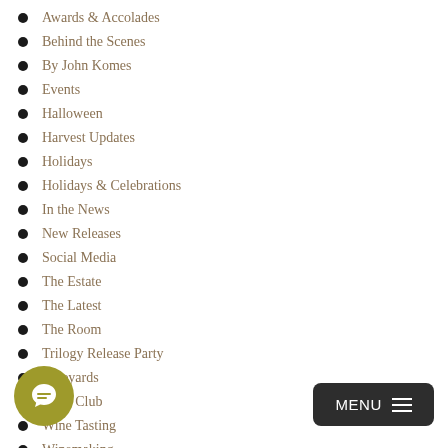Awards & Accolades
Behind the Scenes
By John Komes
Events
Halloween
Harvest Updates
Holidays
Holidays & Celebrations
In the News
New Releases
Social Media
The Estate
The Latest
The Room
Trilogy Release Party
Vineyards
Wine Club
Wine Tasting
Winemaking
ARCHIVES
June 2022